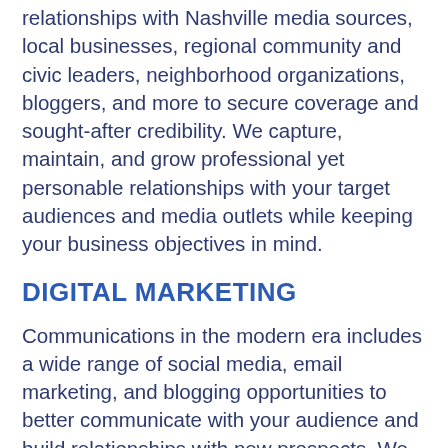relationships with Nashville media sources, local businesses, regional community and civic leaders, neighborhood organizations, bloggers, and more to secure coverage and sought-after credibility. We capture, maintain, and grow professional yet personable relationships with your target audiences and media outlets while keeping your business objectives in mind.
DIGITAL MARKETING
Communications in the modern era includes a wide range of social media, email marketing, and blogging opportunities to better communicate with your audience and build relationships with new prospects. We work with you to develop, track, and reach your goals.